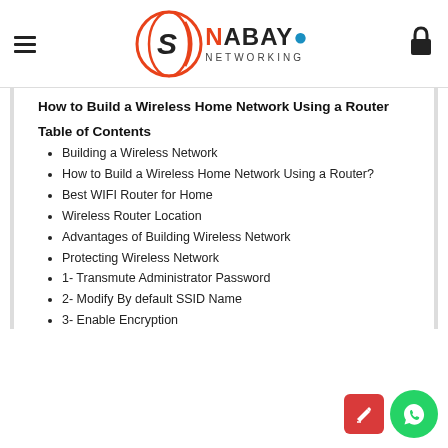NABAYO Networking
How to Build a Wireless Home Network Using a Router
Table of Contents
Building a Wireless Network
How to Build a Wireless Home Network Using a Router?
Best WIFI Router for Home
Wireless Router Location
Advantages of Building Wireless Network
Protecting Wireless Network
1- Transmute Administrator Password
2- Modify By default SSID Name
3- Enable Encryption